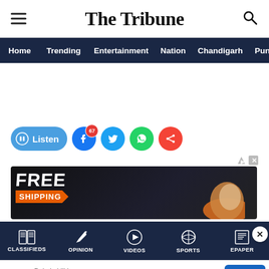The Tribune
[Figure (screenshot): Navigation menu bar with links: Home, Trending, Entertainment, Nation, Chandigarh, Punjab]
[Figure (infographic): Social sharing toolbar with Listen button and social icons: Facebook (67), Twitter, WhatsApp, Share]
[Figure (infographic): Advertisement banner with FREE SHIPPING text and product image]
[Figure (screenshot): Bottom navigation bar with icons: CLASSIFIEDS, OPINION, VIDEOS, SPORTS, EPAPER]
[Figure (infographic): Mobile app advertisement for Dahabshiil Money Transfer App with OPEN button]